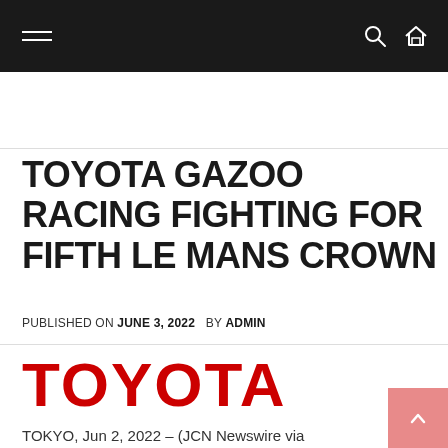Navigation bar with hamburger menu and search/home icons
TOYOTA GAZOO RACING FIGHTING FOR FIFTH LE MANS CROWN
PUBLISHED ON JUNE 3, 2022  BY ADMIN
[Figure (logo): Toyota logo in red bold uppercase text]
TOKYO, Jun 2, 2022 – (JCN Newswire via SEAPRWire.com) – TOYOTA GAZOO Racing puts its long unbeaten run on the line